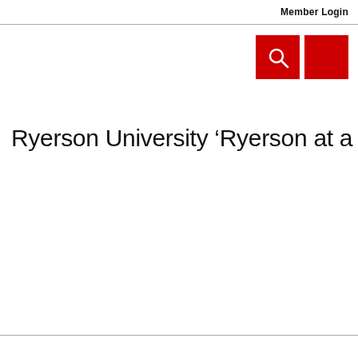Member Login
[Figure (illustration): Two red square icon buttons — one with a white magnifying glass search icon, one plain red square — positioned in the top right area below the header line.]
Ryerson University ‘Ryerson at a Glance’